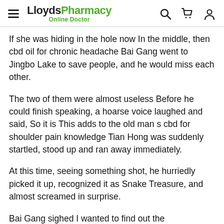LloydsPharmacy Online Doctor
If she was hiding in the hole now In the middle, then cbd oil for chronic headache Bai Gang went to Jingbo Lake to save people, and he would miss each other.
The two of them were almost useless Before he could finish speaking, a hoarse voice laughed and said, So it is This adds to the old man s cbd for shoulder pain knowledge Tian Hong was suddenly startled, stood up and ran away immediately.
At this time, seeing something shot, he hurriedly picked it up, recognized it as Snake Treasure, and almost screamed in surprise.
Bai Gang sighed I wanted to find out the whereabouts of Brother Wang Bochuan from him, cbd for shoulder